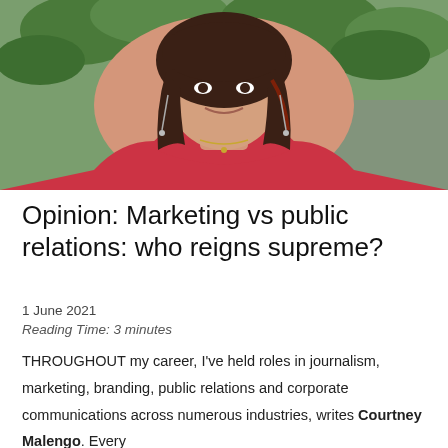[Figure (photo): Portrait photo of a woman with dark hair wearing a red top and dangly earrings, smiling, with green foliage visible in the background.]
Opinion: Marketing vs public relations: who reigns supreme?
1 June 2021
Reading Time: 3 minutes
THROUGHOUT my career, I've held roles in journalism, marketing, branding, public relations and corporate communications across numerous industries, writes Courtney Malengo. Every